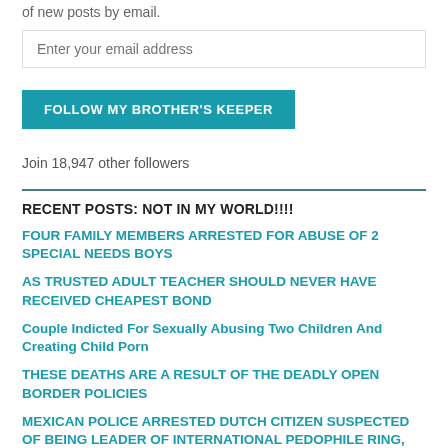of new posts by email.
Enter your email address
FOLLOW MY BROTHER'S KEEPER
Join 18,947 other followers
RECENT POSTS: NOT IN MY WORLD!!!!
FOUR FAMILY MEMBERS ARRESTED FOR ABUSE OF 2 SPECIAL NEEDS BOYS
AS TRUSTED ADULT TEACHER SHOULD NEVER HAVE RECEIVED CHEAPEST BOND
Couple Indicted For Sexually Abusing Two Children And Creating Child Porn
THESE DEATHS ARE A RESULT OF THE DEADLY OPEN BORDER POLICIES
MEXICAN POLICE ARRESTED DUTCH CITIZEN SUSPECTED OF BEING LEADER OF INTERNATIONAL PEDOPHILE RING, MEXICO